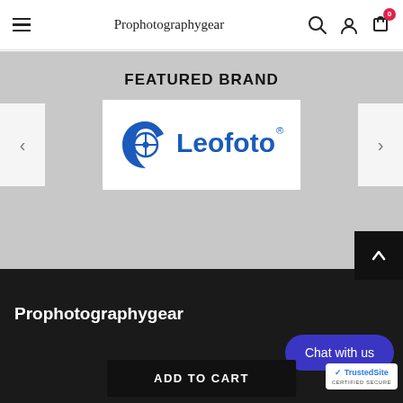Prophotographygear
FEATURED BRAND
[Figure (logo): Leofoto brand logo in blue with circular crosshair icon and registered trademark symbol]
Prophotographygear
Chat with us
ADD TO CART
[Figure (logo): TrustedSite CERTIFIED SECURE badge with blue checkmark]